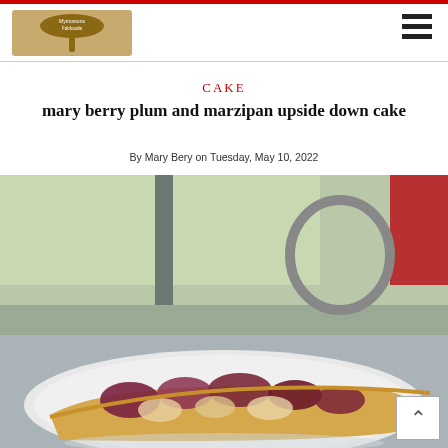[Figure (logo): Wooden spoon logo for the website]
CAKE
mary berry plum and marzipan upside down cake
By Mary Bery on Tuesday, May 10, 2022
[Figure (photo): Photo of a plum and marzipan upside down cake slice on a white plate, set on a grey table outdoors with blurred background showing greenery and a red chair]